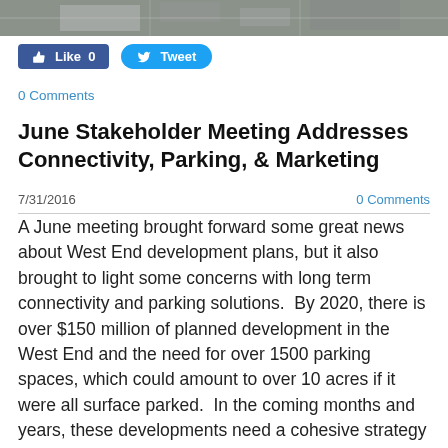[Figure (photo): Aerial view of a street or parking area, cropped at top of page]
[Figure (infographic): Facebook Like button showing '0' and Twitter Tweet button]
0 Comments
June Stakeholder Meeting Addresses Connectivity, Parking, & Marketing
7/31/2016	0 Comments
A June meeting brought forward some great news about West End development plans, but it also brought to light some concerns with long term connectivity and parking solutions.  By 2020, there is over $150 million of planned development in the West End and the need for over 1500 parking spaces, which could amount to over 10 acres if it were all surface parked.  In the coming months and years, these developments need a cohesive strategy to realize a synergistic